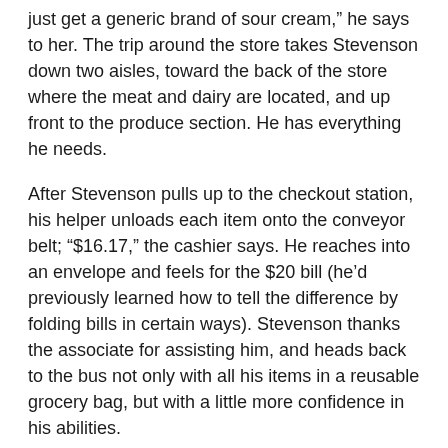just get a generic brand of sour cream," he says to her. The trip around the store takes Stevenson down two aisles, toward the back of the store where the meat and dairy are located, and up front to the produce section. He has everything he needs.
After Stevenson pulls up to the checkout station, his helper unloads each item onto the conveyor belt; "$16.17," the cashier says. He reaches into an envelope and feels for the $20 bill (he'd previously learned how to tell the difference by folding bills in certain ways). Stevenson thanks the associate for assisting him, and heads back to the bus not only with all his items in a reusable grocery bag, but with a little more confidence in his abilities.
THE BEAT GOES ON
Live music echoes through the halls and cafeteria